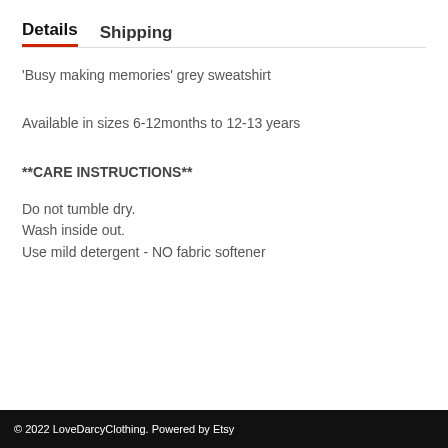Details  Shipping
'Busy making memories' grey sweatshirt
Available in sizes 6-12months to 12-13 years
**CARE INSTRUCTIONS**
Do not tumble dry.
Wash inside out.
Use mild detergent - NO fabric softener
© 2022 LoveDarcyClothing. Powered by Etsy